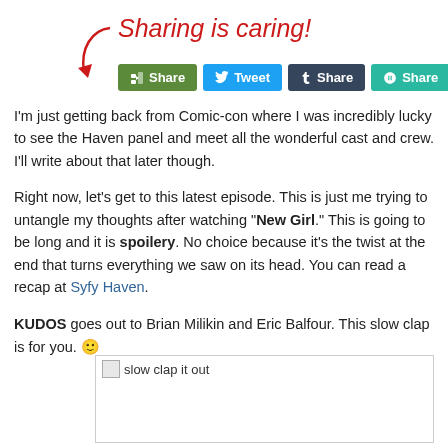[Figure (illustration): Red arrow pointing down and to the left toward sharing buttons, with handwritten-style text 'Sharing is caring!' in red above it]
I'm just getting back from Comic-con where I was incredibly lucky to see the Haven panel and meet all the wonderful cast and crew. I'll write about that later though.
Right now, let's get to this latest episode. This is just me trying to untangle my thoughts after watching "New Girl." This is going to be long and it is spoilery. No choice because it's the twist at the end that turns everything we saw on its head. You can read a recap at Syfy Haven.
KUDOS goes out to Brian Milikin and Eric Balfour. This slow clap is for you. 🙂
[Figure (photo): Broken image placeholder with alt text 'slow clap it out']